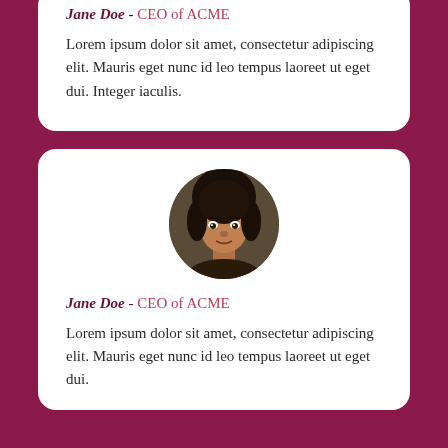Jane Doe - CEO of ACME
Lorem ipsum dolor sit amet, consectetur adipiscing elit. Mauris eget nunc id leo tempus laoreet ut eget dui. Integer iaculis.
[Figure (photo): Circular portrait photo of a young woman with dark curly hair, looking forward, used as avatar/testimonial photo.]
Jane Doe - CEO of ACME
Lorem ipsum dolor sit amet, consectetur adipiscing elit. Mauris eget nunc id leo tempus laoreet ut eget dui.